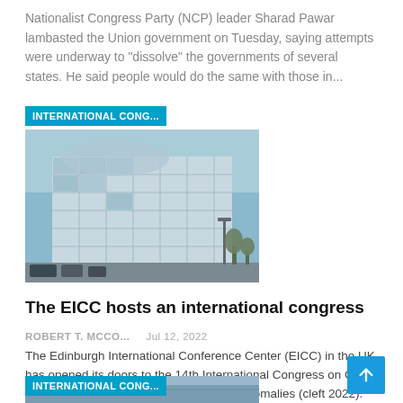Nationalist Congress Party (NCP) leader Sharad Pawar lambasted the Union government on Tuesday, saying attempts were underway to "dissolve" the governments of several states. He said people would do the same with those in...
[Figure (photo): Modern glass office building (Edinburgh International Conference Centre), photographed from street level. A cyan label reading 'INTERNATIONAL CONG...' overlays the top-left corner.]
The EICC hosts an international congress
ROBERT T. MCCO...   Jul 12, 2022
The Edinburgh International Conference Center (EICC) in the UK has opened its doors to the 14th International Congress on Cleft Lip, Palate and Associated Craniofacial Anomalies (cleft 2022). Cleft 2022 opened its doors yesterday, July 11,...
[Figure (photo): Partial view of a building exterior, with a cyan label reading 'INTERNATIONAL CONG...' overlaying the top-left corner.]